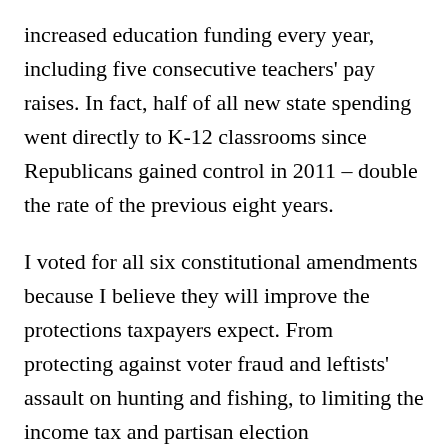increased education funding every year, including five consecutive teachers' pay raises. In fact, half of all new state spending went directly to K-12 classrooms since Republicans gained control in 2011 – double the rate of the previous eight years.
I voted for all six constitutional amendments because I believe they will improve the protections taxpayers expect. From protecting against voter fraud and leftists' assault on hunting and fishing, to limiting the income tax and partisan election administration – our state needs all six amendments.
Share this: